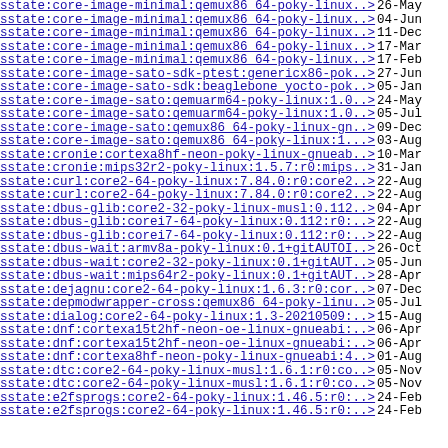sstate:core-image-minimal:qemux86_64-poky-linux..> 26-May
sstate:core-image-minimal:qemux86_64-poky-linux..> 04-Jun
sstate:core-image-minimal:qemux86_64-poky-linux..> 11-Dec
sstate:core-image-minimal:qemux86_64-poky-linux..> 17-Mar
sstate:core-image-minimal:qemux86_64-poky-linux..> 17-Feb
sstate:core-image-sato-sdk-ptest:genericx86-pok..> 27-Jun
sstate:core-image-sato-sdk:beaglebone_yocto-pok..> 05-Jan
sstate:core-image-sato:qemuarm64-poky-linux:1.0..> 24-May
sstate:core-image-sato:qemuarm64-poky-linux:1.0..> 05-Jul
sstate:core-image-sato:qemux86_64-poky-linux-gn..> 09-Dec
sstate:core-image-sato:qemux86_64-poky-linux:1...> 03-Aug
sstate:cronie:cortexa8hf-neon-poky-linux-gnueab..> 10-Mar
sstate:cronie:mips32r2-poky-linux:1.5.7:r0:mips..> 31-Jan
sstate:curl:core2-64-poky-linux:7.84.0:r0:core2..> 22-Aug
sstate:curl:core2-64-poky-linux:7.84.0:r0:core2..> 22-Aug
sstate:dbus-glib:core2-32-poky-linux-musl:0.112..> 04-Apr
sstate:dbus-glib:corei7-64-poky-linux:0.112:r0:..> 22-Aug
sstate:dbus-glib:corei7-64-poky-linux:0.112:r0:..> 22-Aug
sstate:dbus-wait:armv8a-poky-linux:0.1+gitAUTOI..> 26-Oct
sstate:dbus-wait:core2-32-poky-linux:0.1+gitAUT..> 05-Jun
sstate:dbus-wait:mips64r2-poky-linux:0.1+gitAUT..> 28-Apr
sstate:dejagnu:core2-64-poky-linux:1.6.3:r0:cor..> 07-Dec
sstate:depmodwrapper-cross:qemux86_64-poky-linu..> 05-Jul
sstate:dialog:core2-64-poky-linux:1.3-20210509:..> 15-Aug
sstate:dnf:cortexa15t2hf-neon-oe-linux-gnueabi:..> 06-Apr
sstate:dnf:cortexa15t2hf-neon-oe-linux-gnueabi:..> 06-Apr
sstate:dnf:cortexa8hf-neon-poky-linux-gnueabi:4..> 01-Aug
sstate:dtc:core2-64-poky-linux-musl:1.6.1:r0:co..> 05-Nov
sstate:dtc:core2-64-poky-linux-musl:1.6.1:r0:co..> 05-Nov
sstate:e2fsprogs:core2-64-poky-linux:1.46.5:r0:..> 24-Feb
sstate:e2fsprogs:core2-64-poky-linux:1.46.5:r0:..> 24-Feb